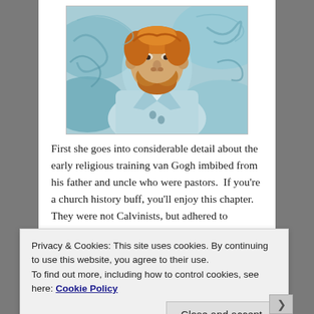[Figure (illustration): A painting of Vincent van Gogh self-portrait rendered in swirling teal and blue tones, with orange/auburn beard and hair, wearing a light jacket, in post-impressionist style.]
First she goes into considerable detail about the early religious training van Gogh imbibed from his father and uncle who were pastors.  If you're a church history buff, you'll enjoy this chapter.  They were not Calvinists, but adhered to Groningen theology which was Arminian.   (If
Privacy & Cookies: This site uses cookies. By continuing to use this website, you agree to their use.
To find out more, including how to control cookies, see here: Cookie Policy
Close and accept